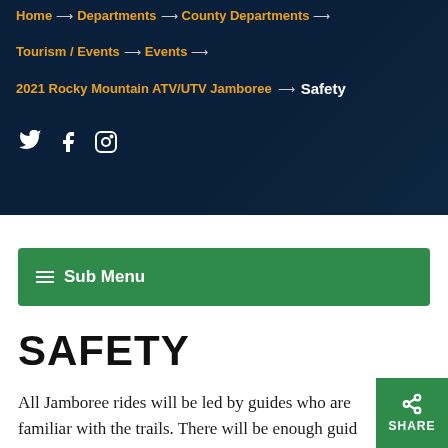Home → Departments → County Departments → Tourism / Events → Events → 2021 Rocky Mountain ATV/UTV Jamboree → Safety
≡ Sub Menu
SAFETY
All Jamboree rides will be led by guides who are familiar with the trails. There will be enough guides and support riders to ensure that everyone takes